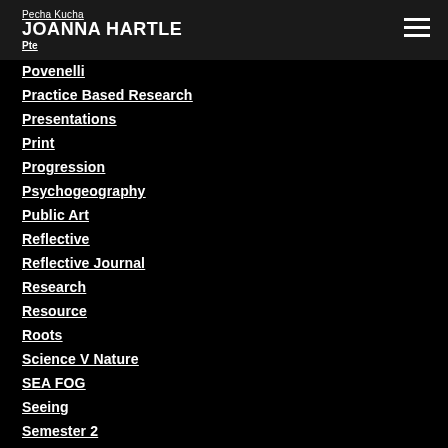Pecha Kucha
JOANNA HARTLE
Pte
Povenelli
Practice Based Research
Presentations
Print
Progression
Psychogeography
Public Art
Reflective
Reflective Journal
Research
Resource
Roots
Science V Nature
SEA FOG
Seeing
Semester 2
Seren Metcalf